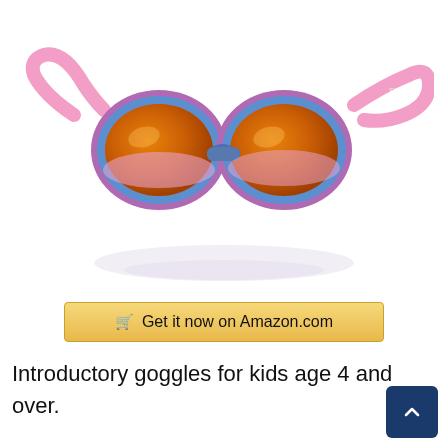[Figure (photo): Pink and purple swim goggles with orange mirrored lenses, shown with reflection on white background]
Get it now on Amazon.com
Introductory goggles for kids age 4 and over. Flexible silicone straps with Speed Fit clip to adjust easily. Anti-fog coating helps swim to see in any condition while mirrored lenses